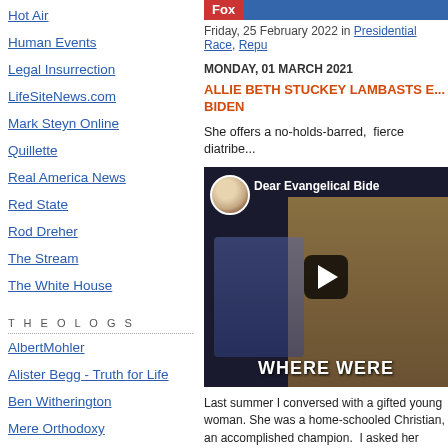Hot Air
Human Events
Legal Insurrection
LifeSiteNews.com
Mark Steyn Online
Quillette
Real America News
Red State
Rod Dreher
The Stream
The White House
THEOLOGS
AlbertMohler
Alister Begg - Truth for Life
Ben Witherington
Mere Orthodoxy
Mission Biographies
[Figure (screenshot): Top image banner with Fox-style logo]
Friday, 25 February 2022 in Presidential Race, Repu...
MONDAY, 01 MARCH 2021
ALLIE BETH STUCKEY LAMBASTS E... BIDEN
She offers a no-holds-barred,  fierce diatribe...
[Figure (screenshot): YouTube video thumbnail showing Allie Beth Stuckey - Dear Evangelical Bide... - WHERE WERE...]
Last summer I conversed with a gifted young woman. She was a home-schooled Christian, an accomplished champion.  I asked her whom she was listening to... "Allie Beth Stuckey". I hadn't heard of St...